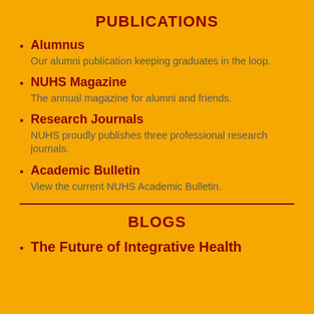PUBLICATIONS
Alumnus
Our alumni publication keeping graduates in the loop.
NUHS Magazine
The annual magazine for alumni and friends.
Research Journals
NUHS proudly publishes three professional research journals.
Academic Bulletin
View the current NUHS Academic Bulletin.
BLOGS
The Future of Integrative Health